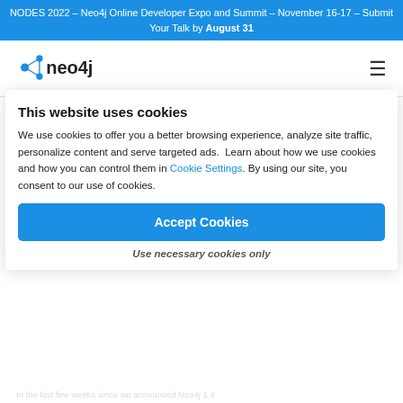NODES 2022 – Neo4j Online Developer Expo and Summit – November 16-17 – Submit Your Talk by August 31
[Figure (logo): Neo4j logo with blue graph node icon and black text]
Neo4j 1.4.1 "Kiruna Stol" QA
Neo4j Staff
Aug 02, 2011 · 2 m
This website uses cookies
We use cookies to offer you a better browsing experience, analyze site traffic, personalize content and serve targeted ads.  Learn about how we use cookies and how you can control them in Cookie Settings. By using our site, you consent to our use of cookies.
Accept Cookies
Use necessary cookies only
In the last few weeks since we announced Neo4j 1.4